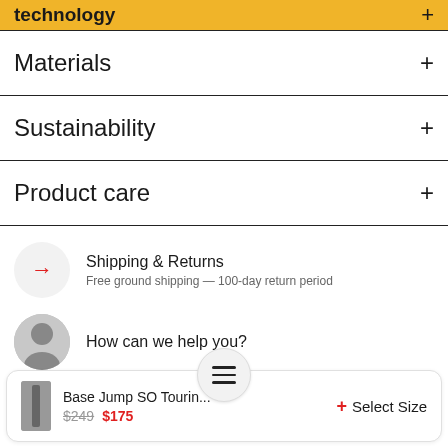technology +
Materials +
Sustainability +
Product care +
Shipping & Returns
Free ground shipping — 100-day return period
How can we help you?
Base Jump SO Tourin...
$249 $175
Select Size